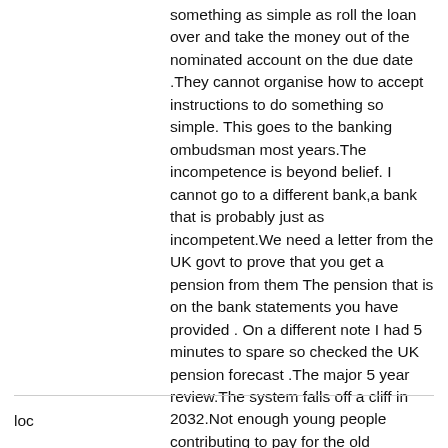something as simple as roll the loan over and take the money out of the nominated account on the due date .They cannot organise how to accept instructions to do something so simple. This goes to the banking ombudsman most years.The incompetence is beyond belief. I cannot go to a different bank,a bank that is probably just as incompetent.We need a letter from the UK govt to prove that you get a pension from them The pension that is on the bank statements you have provided . On a different note I had 5 minutes to spare so checked the UK pension forecast .The major 5 year review.The system falls off a cliff in 2032.Not enough young people contributing to pay for the old people.The present employer/ employee contributions of approx 22% of wages will need to rise to approx 33% to cover pensions.The future date is 2086.The expected pension is £ 2,800 a week in nominal terms,or approx £220 a week in real money.A small rise from the £180 a week now.The numbers are just rough as it was just a quick look and my memory for numbers is not what it was. I'm coming back as a pom in the next life.
loc